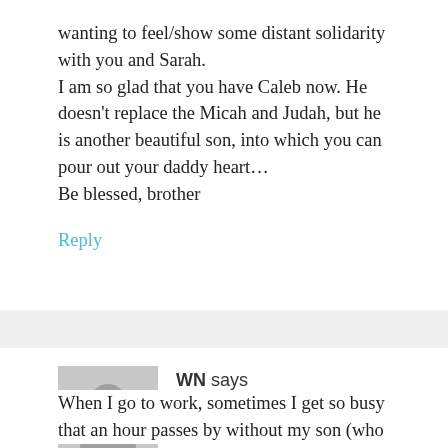wanting to feel/show some distant solidarity with you and Sarah. I am so glad that you have Caleb now. He doesn't replace the Micah and Judah, but he is another beautiful son, into which you can pour out your daddy heart… Be blessed, brother
Reply
WN says
December 8, 2012 at 4:13 am
When I go to work, sometimes I get so busy that an hour passes by without my son (who